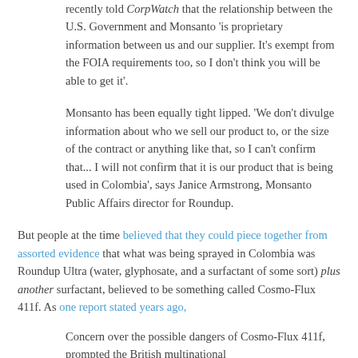recently told CorpWatch that the relationship between the U.S. Government and Monsanto 'is proprietary information between us and our supplier. It's exempt from the FOIA requirements too, so I don't think you will be able to get it'.
Monsanto has been equally tight lipped. 'We don't divulge information about who we sell our product to, or the size of the contract or anything like that, so I can't confirm that... I will not confirm that it is our product that is being used in Colombia', says Janice Armstrong, Monsanto Public Affairs director for Roundup.
But people at the time believed that they could piece together from assorted evidence that what was being sprayed in Colombia was Roundup Ultra (water, glyphosate, and a surfactant of some sort) plus another surfactant, believed to be something called Cosmo-Flux 411f. As one report stated years ago,
Concern over the possible dangers of Cosmo-Flux 411f, prompted the British multinational...